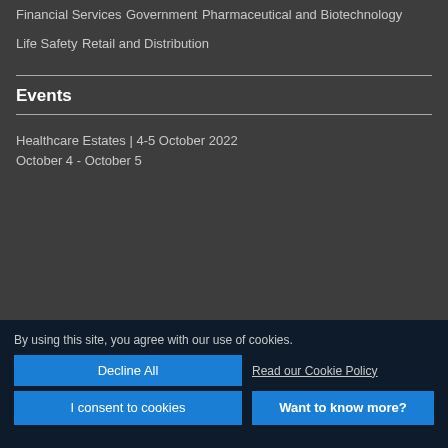Financial Services
Government
Pharmaceutical and Biotechnology
Life Safety
Retail and Distribution
Events
Healthcare Estates | 4-5 October 2022
October 4 - October 5
By using this site, you agree with our use of cookies.
Decline All
Read our Cookie Policy
I consent to cookies
Want to know more?